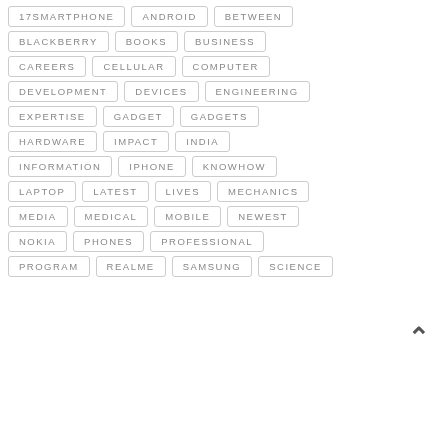17SMARTPHONE
ANDROID
BETWEEN
BLACKBERRY
BOOKS
BUSINESS
CAREERS
CELLULAR
COMPUTER
DEVELOPMENT
DEVICES
ENGINEERING
EXPERTISE
GADGET
GADGETS
HARDWARE
IMPACT
INDIA
INFORMATION
IPHONE
KNOWHOW
LAPTOP
LATEST
LIVES
MECHANICS
MEDIA
MEDICAL
MOBILE
NEWEST
NOKIA
PHONES
PROFESSIONAL
PROGRAM
REALME
SAMSUNG
SCIENCE